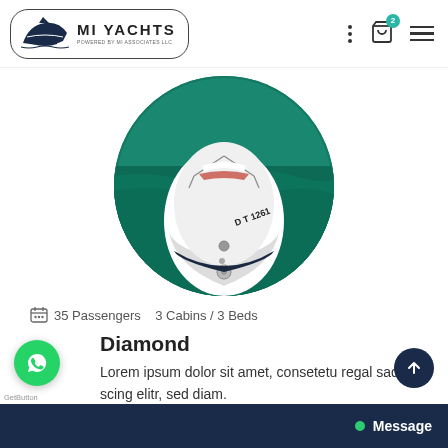[Figure (logo): MI Yachts logo with a boat icon inside a rounded hexagon border, text MI YACHTS and subtitle]
[Figure (photo): Aerial view of a white yacht bow on turquoise water, registration D T 1261 visible, displayed in a circular crop]
35 Passengers   3 Cabins / 3 Beds
Diamond
Lorem ipsum dolor sit amet, consetetu regal sadip scing elitr, sed diam.